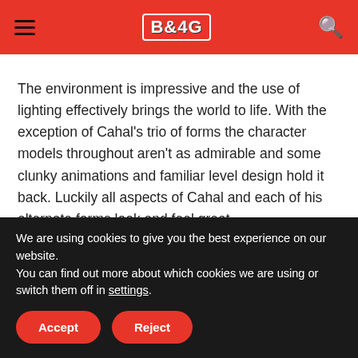BOYG [logo] | hamburger menu | search icon
The environment is impressive and the use of lighting effectively brings the world to life. With the exception of Cahal's trio of forms the character models throughout aren't as admirable and some clunky animations and familiar level design hold it back. Luckily all aspects of Cahal and each of his alternate forms look and feel great
We are using cookies to give you the best experience on our website.
You can find out more about which cookies we are using or switch them off in settings.
Accept | Reject